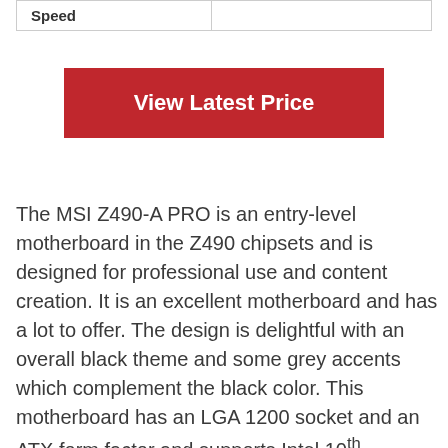| Speed |  |
| --- | --- |
[Figure (other): Red button with white text reading 'View Latest Price']
The MSI Z490-A PRO is an entry-level motherboard in the Z490 chipsets and is designed for professional use and content creation. It is an excellent motherboard and has a lot to offer. The design is delightful with an overall black theme and some grey accents which complement the black color. This motherboard has an LGA 1200 socket and an ATX form factor and supports Intel 10th generation CPUs.